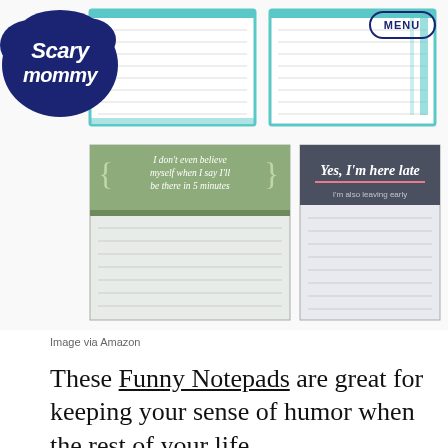[Figure (photo): Two funny notepads with humorous quotes. Top section shows two teal/blue bordered notepads. Bottom left notepad has a green header with cursive text reading 'I don't even believe myself when I say I'll be there in 5 minutes' with blank lined pages below. Bottom right notepad has a dark gray/charcoal header with white cursive text 'Yes, I'm here late' and 'I'm also leaving early' in smaller text with a pink underline, with blank lined pages below. The Scary Mommy logo is in the top left and a MENU button in top right.]
Image via Amazon
These Funny Notepads are great for keeping your sense of humor when the rest of your life